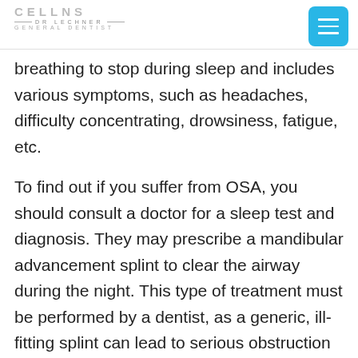DR LECHNER — GENERAL DENTIST
breathing to stop during sleep and includes various symptoms, such as headaches, difficulty concentrating, drowsiness, fatigue, etc.
To find out if you suffer from OSA, you should consult a doctor for a sleep test and diagnosis. They may prescribe a mandibular advancement splint to clear the airway during the night. This type of treatment must be performed by a dentist, as a generic, ill-fitting splint can lead to serious obstruction problems.
In the meantime, until your next visit to the doctor, be proactive by adopting healthy lifestyle and